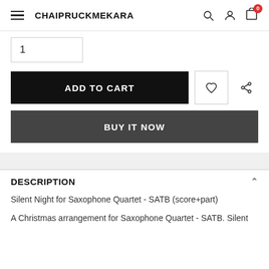CHAIPRUCKMEKARA
1
ADD TO CART
BUY IT NOW
DESCRIPTION
Silent Night for Saxophone Quartet - SATB (score+part)
A Christmas arrangement for Saxophone Quartet - SATB. Silent